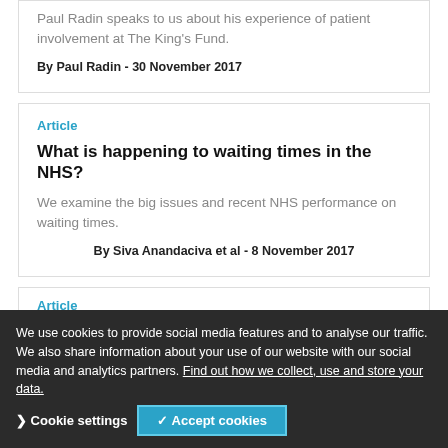Paul Radin speaks to us about his experience of patient involvement at The King's Fund.
By Paul Radin - 30 November 2017
Article
What is happening to waiting times in the NHS?
We examine the big issues and recent NHS performance on waiting times.
By Siva Anandaciva et al - 8 November 2017
Article
State of health and care in england
Services are at full stretch and struggling to maintain standards.
We use cookies to provide social media features and to analyse our traffic. We also share information about your use of our website with our social media and analytics partners. Find out how we collect, use and store your data.